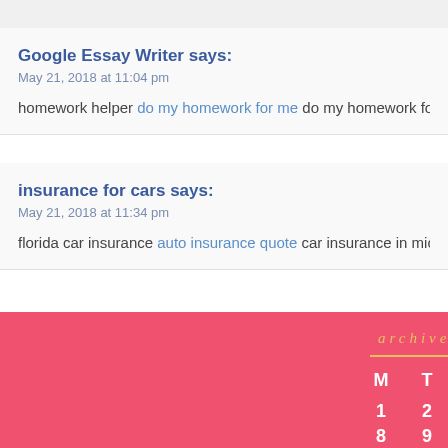Google Essay Writer says:
May 21, 2018 at 11:04 pm
homework helper do my homework for me do my homework for me [ur
insurance for cars says:
May 21, 2018 at 11:34 pm
florida car insurance auto insurance quote car insurance in michigan [u
archives
| M | T | W |
| --- | --- | --- |
| 1 | 2 | 3 |
| 8 | 9 | 10 |
| 15 | 16 | 17 |
| 22 | 23 | 24 |